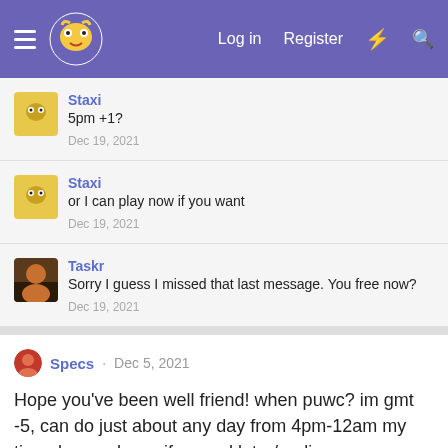Log in  Register
Staxi
5pm +1?
Dec 19, 2021
Staxi
or I can play now if you want
Dec 19, 2021
Taskr
Sorry I guess I missed that last message. You free now?
Dec 19, 2021
Specs · Dec 5, 2021
Hope you've been well friend! when puwc? im gmt -5, can do just about any day from 4pm-12am my time. lemme know if u need later/earlier
View previous comments…